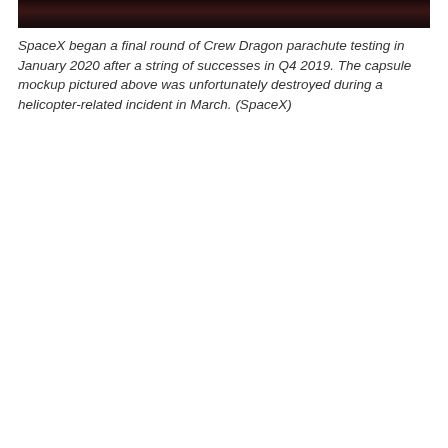[Figure (photo): Dark aerial or outdoor photograph, mostly dark reddish-brown tones suggesting a landscape or capsule test scene]
SpaceX began a final round of Crew Dragon parachute testing in January 2020 after a string of successes in Q4 2019. The capsule mockup pictured above was unfortunately destroyed during a helicopter-related incident in March. (SpaceX)